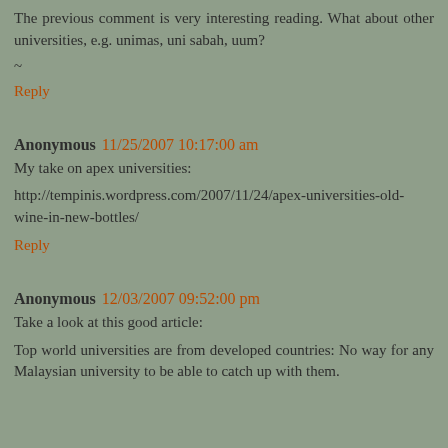The previous comment is very interesting reading. What about other universities, e.g. unimas, uni sabah, uum?
~
Reply
Anonymous 11/25/2007 10:17:00 am
My take on apex universities:
http://tempinis.wordpress.com/2007/11/24/apex-universities-old-wine-in-new-bottles/
Reply
Anonymous 12/03/2007 09:52:00 pm
Take a look at this good article:
Top world universities are from developed countries: No way for any Malaysian university to be able to catch up with them.